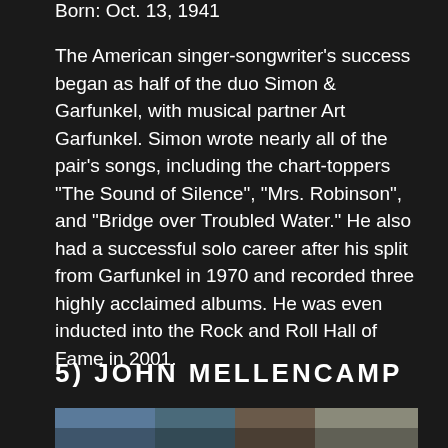Born: Oct. 13, 1941
The American singer-songwriter's success began as half of the duo Simon & Garfunkel, with musical partner Art Garfunkel. Simon wrote nearly all of the pair's songs, including the chart-toppers "The Sound of Silence", "Mrs. Robinson", and "Bridge over Troubled Water." He also had a successful solo career after his split from Garfunkel in 1970 and recorded three highly acclaimed albums. He was even inducted into the Rock and Roll Hall of Fame in 2001.
5) JOHN MELLENCAMP
[Figure (photo): Partial photograph showing a person, cropped at bottom of page]